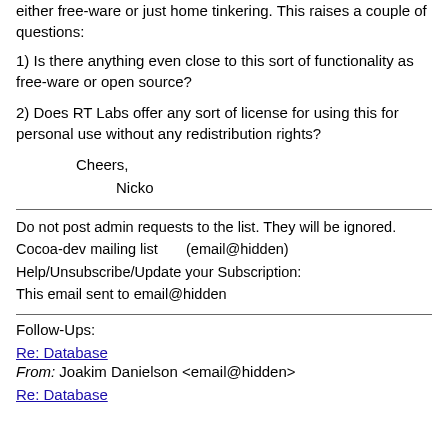either free-ware or just home tinkering. This raises a couple of questions:
1) Is there anything even close to this sort of functionality as free-ware or open source?
2) Does RT Labs offer any sort of license for using this for personal use without any redistribution rights?
Cheers,
        Nicko
Do not post admin requests to the list. They will be ignored.
Cocoa-dev mailing list      (email@hidden)
Help/Unsubscribe/Update your Subscription:
This email sent to email@hidden
Follow-Ups:
Re: Database
From: Joakim Danielson <email@hidden>
Re: Database